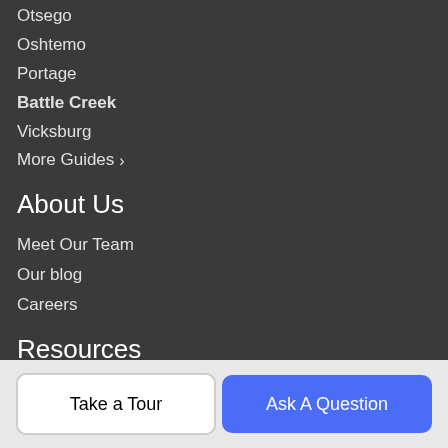Otsego
Oshtemo
Portage
Battle Creek
Vicksburg
More Guides >
About Us
Meet Our Team
Our blog
Careers
Resources
Buy a Home
Sell Your Home
Finance
Take a Tour
Ask A Question